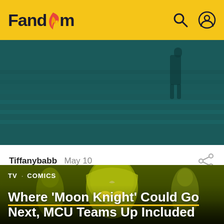Fandom
[Figure (photo): Dark teal-toned screenshot of a person running on stairs, partially cropped]
Tiffanybabb  May 10
[Figure (photo): Yellow-green toned Moon Knight promotional image with hooded masked figure and other characters. Tags: TV · COMICS. Headline: Where 'Moon Knight' Could Go Next, MCU Teams Up Included]
TV · COMICS
Where 'Moon Knight' Could Go Next, MCU Teams Up Included